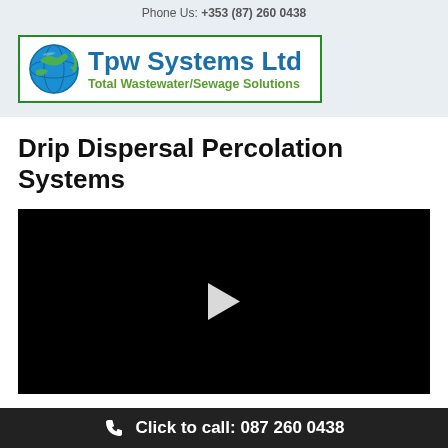Phone Us: +353 (87) 260 0438
[Figure (logo): Tpw Systems Ltd logo with globe graphic, blue company name text and green subtitle 'Total Wastewater/Sewage Solutions', inside a green border box]
Drip Dispersal Percolation Systems
[Figure (screenshot): Black video player with white play button triangle in the center]
Click to call: 087 260 0438